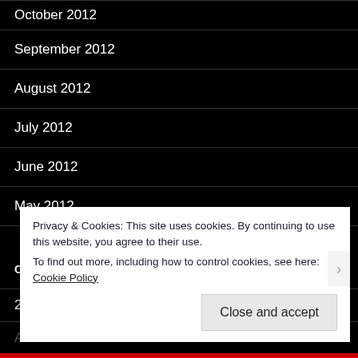October 2012
September 2012
August 2012
July 2012
June 2012
May 2012
CATEGORIES
2nd Ave Subway
Privacy & Cookies: This site uses cookies. By continuing to use this website, you agree to their use.
To find out more, including how to control cookies, see here: Cookie Policy
Close and accept